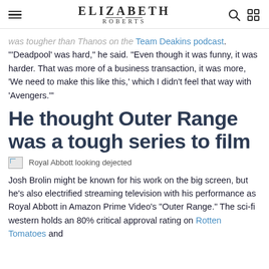ELIZABETH ROBERTS
was tougher than Thanos on the Team Deakins podcast. "'Deadpool' was hard," he said. "Even though it was funny, it was harder. That was more of a business transaction, it was more, 'We need to make this like this,' which I didn't feel that way with 'Avengers.'"
He thought Outer Range was a tough series to film
[Figure (photo): Royal Abbott looking dejected]
Royal Abbott looking dejected
Josh Brolin might be known for his work on the big screen, but he's also electrified streaming television with his performance as Royal Abbott in Amazon Prime Video's "Outer Range." The sci-fi western holds an 80% critical approval rating on Rotten Tomatoes and